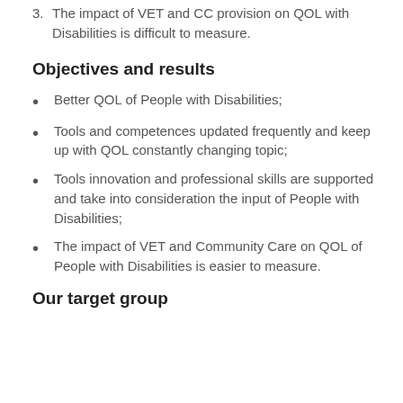3. The impact of VET and CC provision on QOL with Disabilities is difficult to measure.
Objectives and results
Better QOL of People with Disabilities;
Tools and competences updated frequently and keep up with QOL constantly changing topic;
Tools innovation and professional skills are supported and take into consideration the input of People with Disabilities;
The impact of VET and Community Care on QOL of People with Disabilities is easier to measure.
Our target group